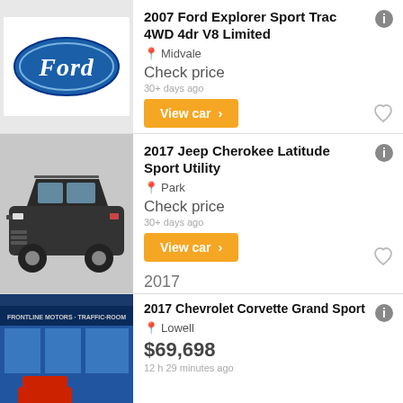[Figure (logo): Ford oval logo on white background]
2007 Ford Explorer Sport Trac 4WD 4dr V8 Limited
Midvale
Check price
30+ days ago
View car >
2007
Year
[Figure (photo): Dark grey 2017 Jeep Cherokee SUV side view]
2017 Jeep Cherokee Latitude Sport Utility
Park
Check price
30+ days ago
View car >
2017
Year
[Figure (photo): Car dealership building exterior with red car visible]
2017 Chevrolet Corvette Grand Sport
Lowell
$69,698
12 h 29 minutes ago